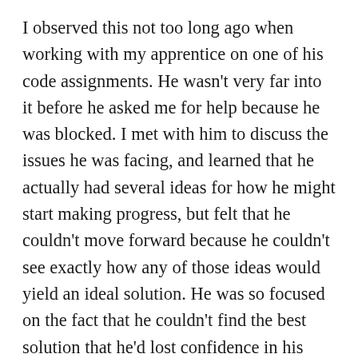I observed this not too long ago when working with my apprentice on one of his code assignments. He wasn't very far into it before he asked me for help because he was blocked. I met with him to discuss the issues he was facing, and learned that he actually had several ideas for how he might start making progress, but felt that he couldn't move forward because he couldn't see exactly how any of those ideas would yield an ideal solution. He was so focused on the fact that he couldn't find the best solution that he'd lost confidence in his ability to find a solution at all, and his progress had come to a standstill as a result. He was clearly capable of coming up with some kind of solution, and I knew he would be able to iterate on that (which was what I really